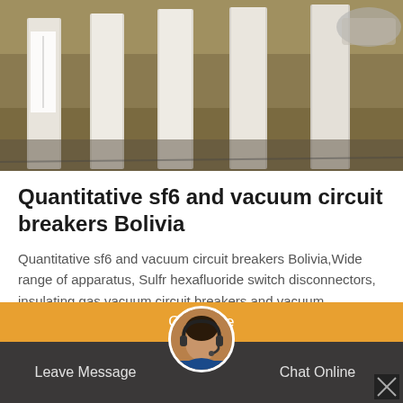[Figure (photo): Industrial photo showing tall white cylindrical pillars/circuit breakers in a facility, with Asian text signage visible]
Quantitative sf6 and vacuum circuit breakers Bolivia
Quantitative sf6 and vacuum circuit breakers Bolivia,Wide range of apparatus, Sulfr hexafluoride switch disconnectors, insulating gas vacuum circuit breakers and vacuum contactors High-level operator safety thanks to internal arc-proof design and a wide range of mechanical interlocks Both LSC2A and LSC2B service continuity